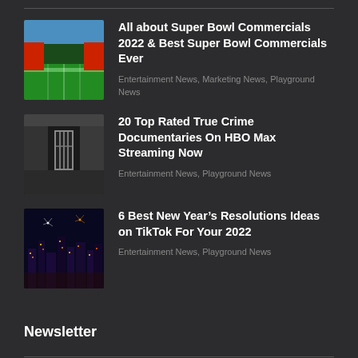All about Super Bowl Commercials 2022 & Best Super Bowl Commercials Ever | Entertainment News, Marketing News, Playground News
20 Top Rated True Crime Documentaries On HBO Max Streaming Now | Entertainment News, Playground News
6 Best New Year’s Resolutions Ideas on TikTok For Your 2022 | Entertainment News, Playground News
Newsletter